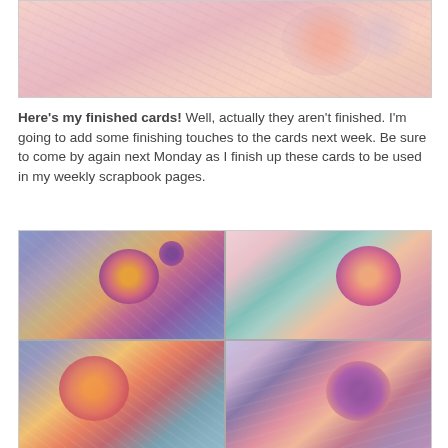[Figure (photo): Close-up photo of a handmade scrapbook card with pink and peach tones, textured patterns and swirling designs]
Here's my finished cards! Well, actually they aren't finished. I'm going to add some finishing touches to the cards next week. Be sure to come by again next Monday as I finish up these cards to be used in my weekly scrapbook pages.
[Figure (photo): Grid of four handmade scrapbook cards showing colorful floral designs with swirling patterns in blue, pink, orange, and purple tones]